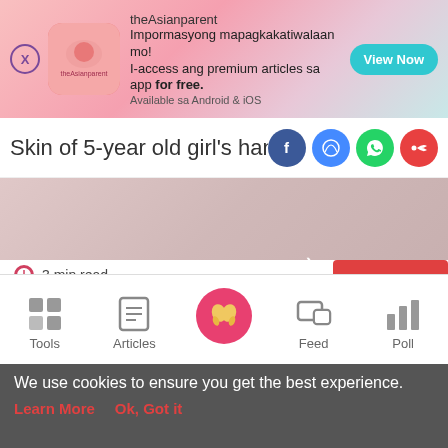[Figure (screenshot): theAsianparent app advertisement banner with pink gradient background, app logo, Filipino tagline text, and View Now button]
Skin of 5-year old girl’s hand ripped o
[Figure (photo): Partial hero image of a child’s hand, pink-toned]
3 min read
[Figure (screenshot): Video player panel with grey arrow, red bar at top, and black video area]
[Figure (screenshot): Bottom navigation bar with Tools, Articles, baby feet icon (pink circle), Feed, Poll icons]
We use cookies to ensure you get the best experience.
Learn More   Ok, Got it